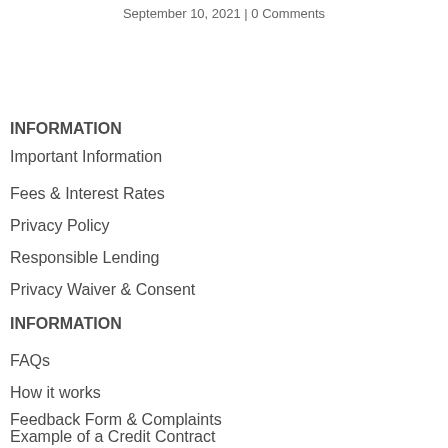September 10, 2021 | 0 Comments
INFORMATION
Important Information
Fees & Interest Rates
Privacy Policy
Responsible Lending
Privacy Waiver & Consent
INFORMATION
FAQs
How it works
Feedback Form & Complaints
Example of a Credit Contract